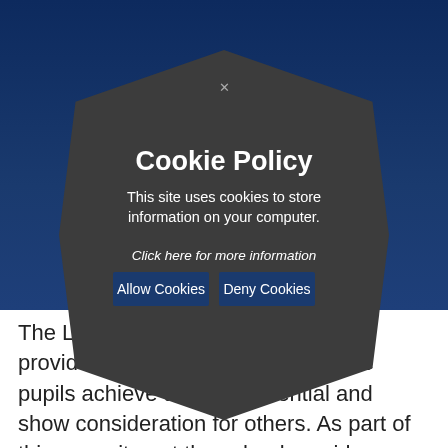[Figure (screenshot): Cookie policy modal dialog with hexagonal dark grey shape overlaying a dark blue website background. Contains title, description text, a link, and two buttons.]
Cookie Policy
This site uses cookies to store information on your computer.
Click here for more information
Allow Cookies   Deny Cookies
The Latimer School is committed to provide a first class education where pupils achieve their full potential and show consideration for others. As part of this commitment the school provides a broad and balanced curriculum that develops